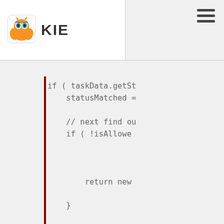[Figure (logo): KIE owl logo with orange body and teal eyes]
KIE
[Figure (screenshot): Hamburger menu icon (three horizontal lines) in top right navigation]
if ( taskData.getSt
    statusMatched =

    // next find ou
    if ( !isAllowe



        return new

    }

    commands( comma
                task,
                user,
                targe
    return null;
}